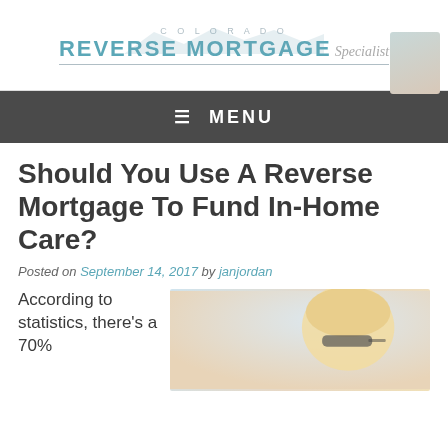[Figure (logo): Colorado Reverse Mortgage Specialist logo with mountain silhouette and headshot photo]
≡ MENU
Should You Use A Reverse Mortgage To Fund In-Home Care?
Posted on September 14, 2017 by janjordan
According to statistics, there's a 70%
[Figure (photo): Elderly woman with blonde hair and sunglasses, close-up photo]